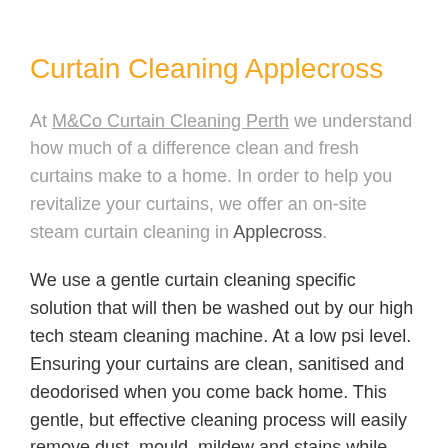Curtain Cleaning Applecross
At M&Co Curtain Cleaning Perth we understand how much of a difference clean and fresh curtains make to a home. In order to help you revitalize your curtains, we offer an on-site steam curtain cleaning in Applecross.
We use a gentle curtain cleaning specific solution that will then be washed out by our high tech steam cleaning machine. At a low psi level. Ensuring your curtains are clean, sanitised and deodorised when you come back home. This gentle, but effective cleaning process will easily remove dust, mould, mildew and stains while